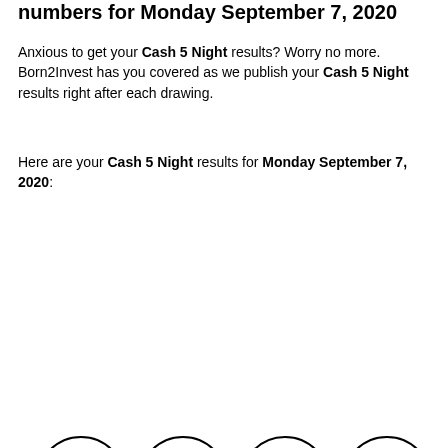numbers for Monday September 7, 2020
Anxious to get your Cash 5 Night results? Worry no more. Born2Invest has you covered as we publish your Cash 5 Night results right after each drawing.
Here are your Cash 5 Night results for Monday September 7, 2020:
[Figure (infographic): Five lottery balls in circles showing numbers: 03, 05, 06, 12, 19]